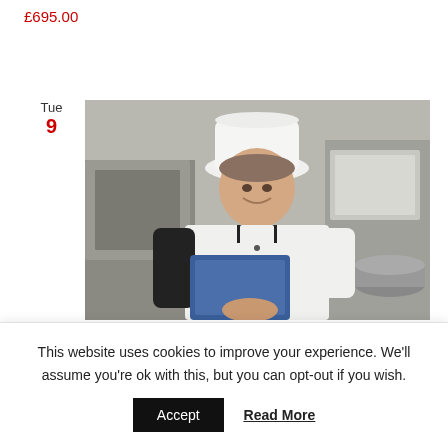£695.00
Tue
9
[Figure (photo): A chef in white uniform and tall white hat looking at a blue clipboard/tablet in a commercial kitchen]
9th November 2021 @ 9:30 am - 7th December 2021 @ 4:30 pm
Level 4 Award in Managing Food
This website uses cookies to improve your experience. We'll assume you're ok with this, but you can opt-out if you wish.
Accept   Read More